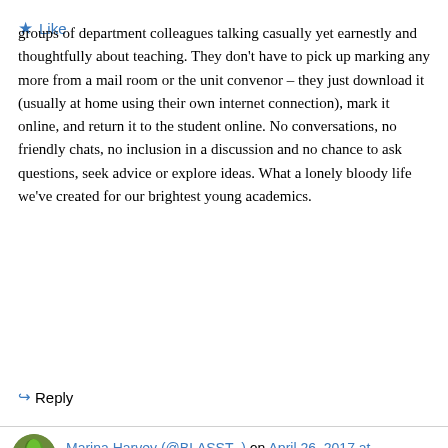groups of department colleagues talking casually yet earnestly and thoughtfully about teaching. They don't have to pick up marking any more from a mail room or the unit convenor – they just download it (usually at home using their own internet connection), mark it online, and return it to the student online. No conversations, no friendly chats, no inclusion in a discussion and no chance to ask questions, seek advice or explore ideas. What a lonely bloody life we've created for our brightest young academics.
Like
Reply
Marina Harvey (@BLASST_) on April 26, 2017 at 9:30 am